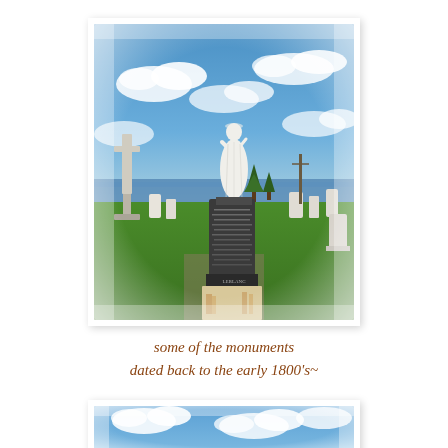[Figure (photo): A white statue of a religious figure (likely the Virgin Mary) standing atop a dark granite pedestal monument in a cemetery. Multiple gravestones and monuments are visible in the background, with a body of water and blue sky with clouds behind them. Green grass surrounds the graves.]
some of the monuments dated back to the early 1800's~
[Figure (photo): Partial view of another cemetery photo showing blue sky with white clouds at the top of the frame.]